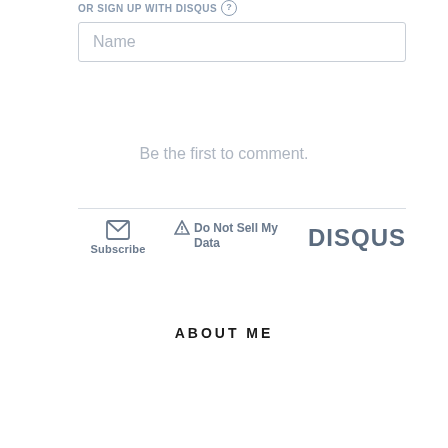OR SIGN UP WITH DISQUS ?
Name
Be the first to comment.
Subscribe
Do Not Sell My Data
[Figure (logo): DISQUS logo text in dark slate color]
ABOUT ME